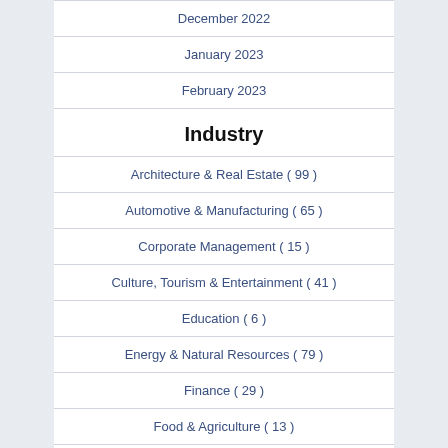December 2022
January 2023
February 2023
Industry
Architecture & Real Estate ( 99 )
Automotive & Manufacturing ( 65 )
Corporate Management ( 15 )
Culture, Tourism & Entertainment ( 41 )
Education ( 6 )
Energy & Natural Resources ( 79 )
Finance ( 29 )
Food & Agriculture ( 13 )